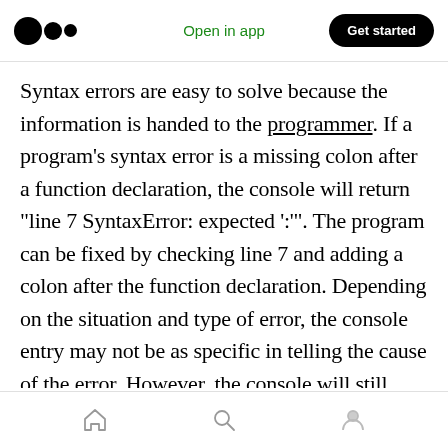Open in app | Get started
Syntax errors are easy to solve because the information is handed to the programmer. If a program's syntax error is a missing colon after a function declaration, the console will return "line 7 SyntaxError: expected ':'". The program can be fixed by checking line 7 and adding a colon after the function declaration. Depending on the situation and type of error, the console entry may not be as specific in telling the cause of the error. However, the console will still return the line and sometimes the character position of the...
Home | Search | Profile